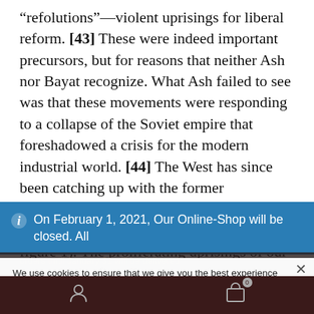“refolutions”—violent uprisings for liberal reform. [43] These were indeed important precursors, but for reasons that neither Ash nor Bayat recognize. What Ash failed to see was that these movements were responding to a collapse of the Soviet empire that foreshadowed a crisis for the modern industrial world. [44] The West has since been catching up with the former communist countries in terms of its own stagnation and deindustrialization (see figure 1). The proliferating uprisings of our age, which often disappear as fast as they appear, express the disruptive state of a global economic
On February 1, 2021, Our Online-Shop will be closed. All orders until January 31 will be delivered
We use cookies to ensure that we give you the best experience on our website. If you continue to use this site we will assume that you are happy with it.